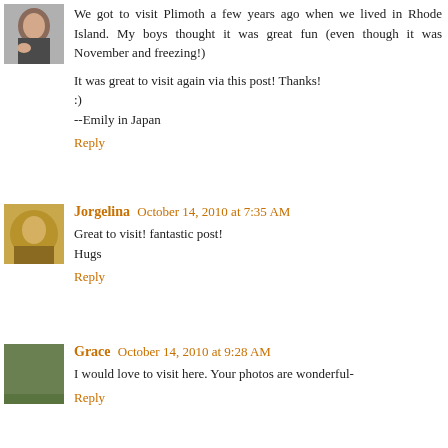[Figure (photo): Small avatar photo of a woman, partial crop showing face and hand]
We got to visit Plimoth a few years ago when we lived in Rhode Island. My boys thought it was great fun (even though it was November and freezing!)

It was great to visit again via this post! Thanks!
:)
--Emily in Japan
Reply
[Figure (photo): Small avatar photo showing an illustrated or decorative image]
Jorgelina October 14, 2010 at 7:35 AM
Great to visit! fantastic post!
Hugs
Reply
[Figure (photo): Small avatar photo showing a plant or natural texture]
Grace October 14, 2010 at 9:28 AM
I would love to visit here. Your photos are wonderful-
Reply